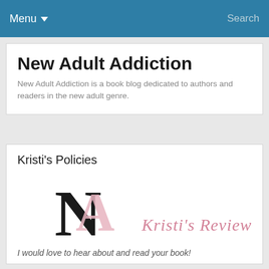Menu ▾    Search
New Adult Addiction
New Adult Addiction is a book blog dedicated to authors and readers in the new adult genre.
Kristi's Policies
[Figure (logo): New Adult Addiction logo with stylized NA letters in black and pink, alongside cursive text reading Kristi's Review Policy]
I would love to hear about and read your book!